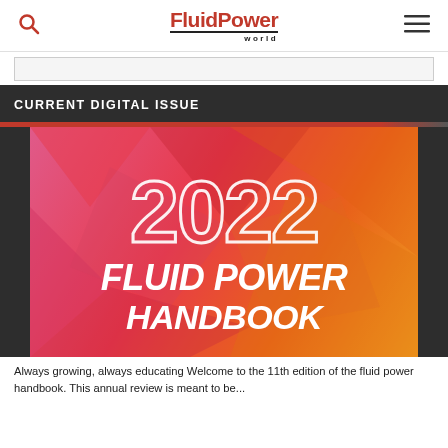FluidPower world
CURRENT DIGITAL ISSUE
[Figure (illustration): 2022 Fluid Power Handbook magazine cover with large '2022' text and 'FLUID POWER HANDBOOK' on a red/orange geometric polygon background]
Always growing, always educating Welcome to the 11th edition of the fluid power handbook. This annual review is meant to be...